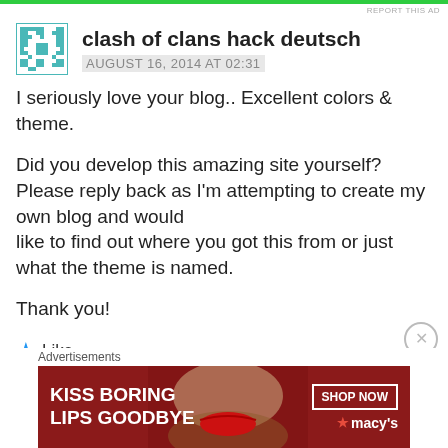REPORT THIS AD
[Figure (illustration): Teal/green pixel-art avatar icon with geometric snowflake-like pattern]
clash of clans hack deutsch
AUGUST 16, 2014 AT 02:31
I seriously love your blog.. Excellent colors & theme.

Did you develop this amazing site yourself? Please reply back as I'm attempting to create my own blog and would like to find out where you got this from or just what the theme is named.

Thank you!
Like
[Figure (photo): Macy's advertisement banner: 'KISS BORING LIPS GOODBYE' with woman's face and red lips, SHOP NOW button and Macy's logo]